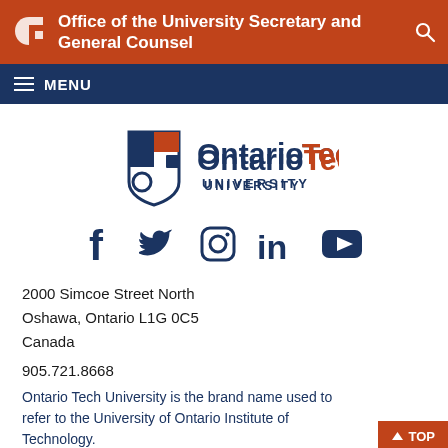Office of the University Secretary and General Counsel
[Figure (logo): Ontario Tech University logo with shield icon, 'Ontario' in dark blue, 'Tech' in orange, and 'UNIVERSITY' in dark blue below]
[Figure (infographic): Social media icons: Facebook, Twitter, Instagram, LinkedIn, YouTube in dark navy blue]
2000 Simcoe Street North
Oshawa, Ontario L1G 0C5
Canada
905.721.8668
Ontario Tech University is the brand name used to refer to the University of Ontario Institute of Technology.